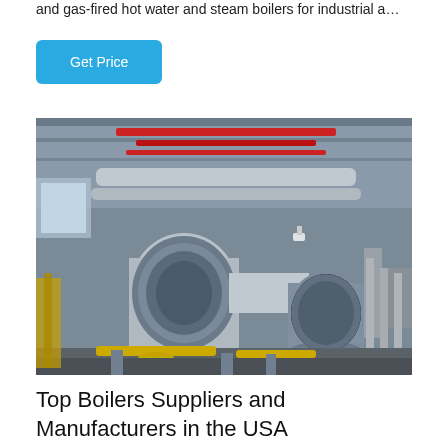and gas-fired hot water and steam boilers for industrial a…
Get Price
[Figure (photo): Industrial boilers installation inside a factory — large cylindrical stainless steel boilers with insulated pipes, red overhead pipes, and yellow floor fittings in a grey industrial building.]
Top Boilers Suppliers and Manufacturers in the USA